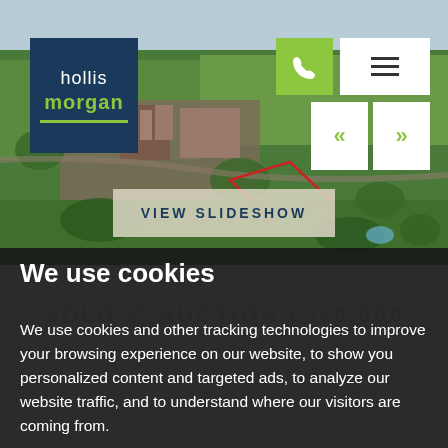[Figure (screenshot): Aerial photo of a town/suburb showing green fields, buildings and a red outlined plot of land. Hollis Morgan estate agency website header with logo, phone button, menu button, navigation arrows, and 'VIEW SLIDESHOW' button overlay.]
We use cookies
SOLD @ AUCTION £370,000
We use cookies and other tracking technologies to improve your browsing experience on our website, to show you personalized content and targeted ads, to analyze our website traffic, and to understand where our visitors are coming from.